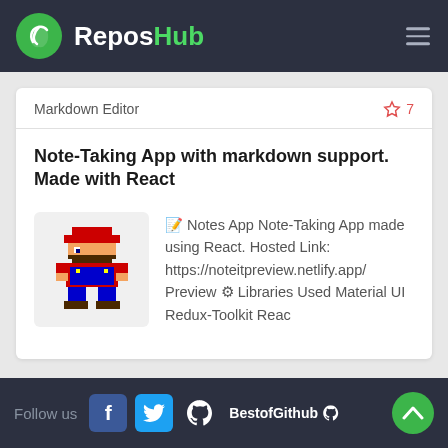ReposHub
Markdown Editor
☆ 7
Note-Taking App with markdown support. Made with React
[Figure (illustration): Pixel art of Mario character in red hat and blue overalls]
📝 Notes App Note-Taking App made using React. Hosted Link: https://noteitpreview.netlify.app/ Preview ⚙ Libraries Used Material UI Redux-Toolkit Reac
Follow us  BestofGithub